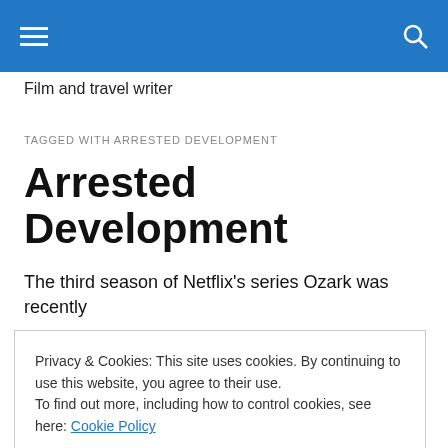Victoria Jelinek — site header with menu and search icons
Victoria Jelinek
Film and travel writer
TAGGED WITH ARRESTED DEVELOPMENT
Arrested Development
The third season of Netflix's series Ozark was recently…
Privacy & Cookies: This site uses cookies. By continuing to use this website, you agree to their use.
To find out more, including how to control cookies, see here: Cookie Policy
is that the brilliant and wry Laura Linney co-stars. I always